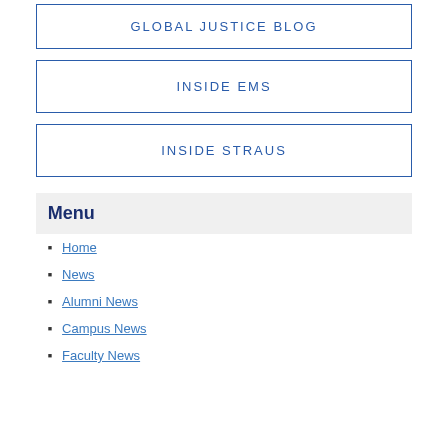GLOBAL JUSTICE BLOG
INSIDE EMS
INSIDE STRAUS
Menu
Home
News
Alumni News
Campus News
Faculty News